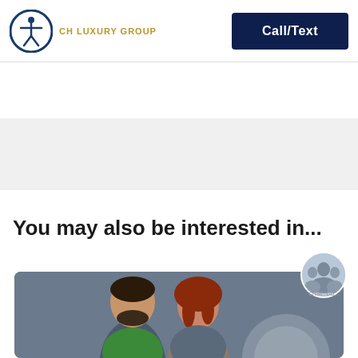[Figure (logo): CH Luxury Group logo with accessibility icon circle and golden text]
Call/Text
[Figure (illustration): Gray banner/advertisement placeholder area]
You may also be interested in...
[Figure (photo): Dark gray card showing a smiling couple (man with beard in green shirt, woman with red hair) with a circular graphic element and a team avatar chat button overlay]